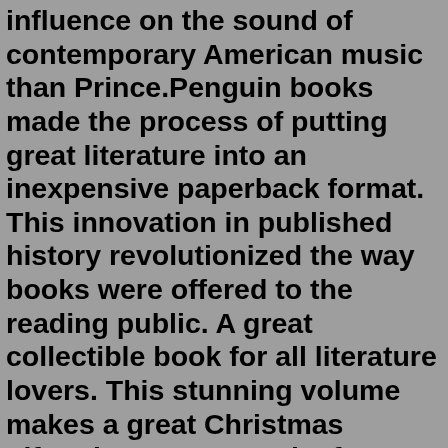influence on the sound of contemporary American music than Prince.Penguin books made the process of putting great literature into an inexpensive paperback format. This innovation in published history revolutionized the way books were offered to the reading public. A great collectible book for all literature lovers. This stunning volume makes a great Christmas gift!John Hunter Book of Tut. Starz Megaways. Money Money Money. Happy Happy Penguin. Zoomania. Wild Wild Witch.Home of (almost) all your favourite books. An outstanding literary biography. A comprehensive and unflinching biography is a journey into Agyeya's public, private and secret livesOur Penguin Gifts & Home collection features a rookery of Penguin Gifts, Penguin Books, Penguin Magnets, Penguin Key Chains, Penguin Stickers, Penguin Greeting Cards, Penguin Posters, Penguin Calendars and more. 52 products "All Together Now" Penguins On Ice Magnet (3" x 2") The Penguin Gift Shop $ 4 95 "Be Cool" Penguin Magnet (2" x 3")We base the design of the products